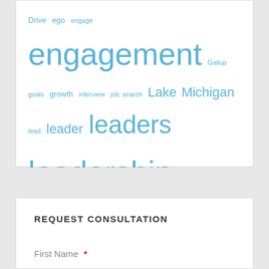[Figure (infographic): Tag cloud with words related to leadership, engagement, and teamwork in varying sizes of blue text. Words include: Drive, ego, engage, engagement, Gallup, goals, growth, interview, job search, Lake Michigan, lead, leader, leaders, leadership, leading, life, mastery, Michigan, motivate, motivation, perfection, personality, perspective, purpose, rally cry, recruiting, recruitment, resistance, strategic, team, teams, teamwork, The Surprising Truth About What Motivates Us, trust]
REQUEST CONSULTATION
First Name *